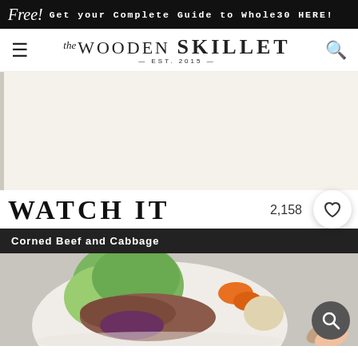Free! Get your Complete Guide to Whole30 HERE!
[Figure (logo): The Wooden Skillet logo with EST. 2015, navigation hamburger menu and search icon]
[Figure (photo): Large beige/cream blank advertisement area with left border]
WATCH IT
2,158
Corned Beef and Cabbage
[Figure (photo): Bowl of corned beef and cabbage with carrots and potatoes, with overlaid search button]